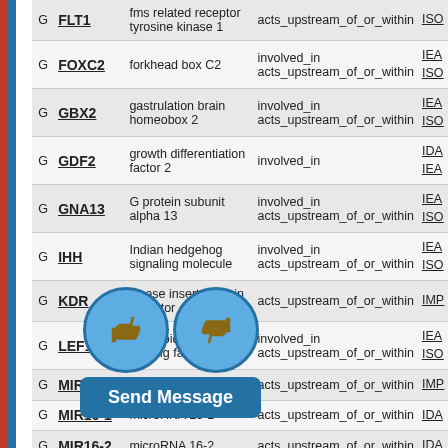| Type | Gene | Description | Relationship | Source |
| --- | --- | --- | --- | --- |
| G | FLT1 | fms related receptor tyrosine kinase 1 | acts_upstream_of_or_within | ISO |
| G | FOXC2 | forkhead box C2 | involved_in
acts_upstream_of_or_within | IEA
ISO |
| G | GBX2 | gastrulation brain homeobox 2 | involved_in
acts_upstream_of_or_within | IEA
ISO |
| G | GDF2 | growth differentiation factor 2 | involved_in | IDA
IEA |
| G | GNA13 | G protein subunit alpha 13 | involved_in
acts_upstream_of_or_within | IEA
ISO |
| G | IHH | Indian hedgehog signaling molecule | involved_in
acts_upstream_of_or_within | IEA
ISO |
| G | KDR | kinase insert domain receptor | acts_upstream_of_or_within | IMP |
| G | LEF1 | lymphoid enhancer binding factor 1 | involved_in
acts_upstream_of_or_within | IEA
ISO |
| G | MIR15B | microRNA 15b | acts_upstream_of_or_within | IMP |
| G | MIR16-1 | microRNA 16-1 | acts_upstream_of_or_within | IDA |
| G | MIR16-2 | microRNA 16-2 | acts_upstream_of_or_within | IDA |
| G | NFATC3 | nuclear factor of | acts_upstream_of_or_within | ISO |
[Figure (other): Overlay UI with thumbs up and thumbs down circular buttons and a 'Send Message' blue bar below them, partially obscuring the table content.]